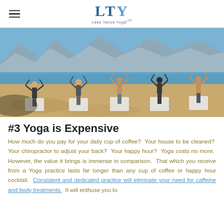LTY Lake Tahoe Yoga
[Figure (photo): Five men doing yoga tree pose on a sandy beach at Lake Tahoe, with mountains and blue water in the background. Each person stands on a white yoga mat with arms raised above head in tree pose.]
#3 Yoga is Expensive
How much do you pay for your daily cup of coffee?  Your house to be cleaned?  Your chiropractor to adjust your back?  Your happy hour?  Yoga costs no more.  However, the value it brings is immense in comparison.  That which you receive from a Yoga practice lasts far longer than any cup of coffee or happy hour cocktail.  Consistent and dedicated practice will eliminate your need for caffeine and body treatments.  It will enthuse you to